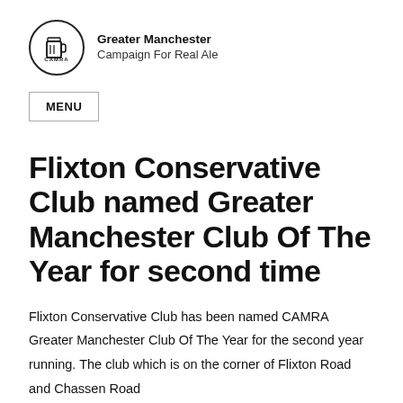[Figure (logo): Greater Manchester CAMRA circular logo with beer mug icon, alongside text 'Greater Manchester Campaign For Real Ale']
MENU
Flixton Conservative Club named Greater Manchester Club Of The Year for second time
Flixton Conservative Club has been named CAMRA Greater Manchester Club Of The Year for the second year running. The club which is on the corner of Flixton Road and Chassen Road